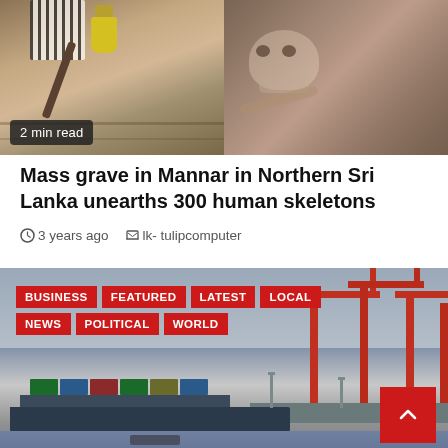[Figure (photo): Two-panel excavation photo: left panel shows a person digging at an archaeological site with a yellow flask visible, right panel shows a skull and bones partially uncovered in soil. Badge reads '2 min read'.]
Mass grave in Mannar in Northern Sri Lanka unearths 300 human skeletons
3 years ago   lk- tulipcomputer
[Figure (photo): Port scene with large red cargo cranes, a ship with coloured containers docked, overcast sky. Category tags overlaid: BUSINESS, FEATURED, LATEST, LOCAL, NEWS, POLITICAL, WORLD. A red scroll-to-top button appears bottom-right.]